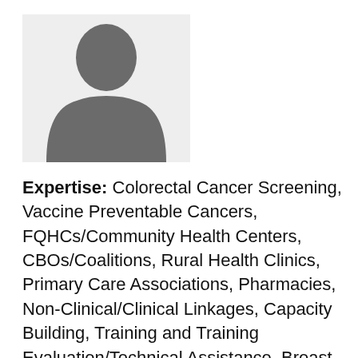[Figure (photo): Placeholder silhouette image of a person (gray background with dark gray person silhouette)]
Expertise: Colorectal Cancer Screening, Vaccine Preventable Cancers, FQHCs/Community Health Centers, CBOs/Coalitions, Rural Health Clinics, Primary Care Associations, Pharmacies, Non-Clinical/Clinical Linkages, Capacity Building, Training and Training Evaluation/Technical Assistance, Breast Cancer Screening, Behavioral Health, Social Determinants